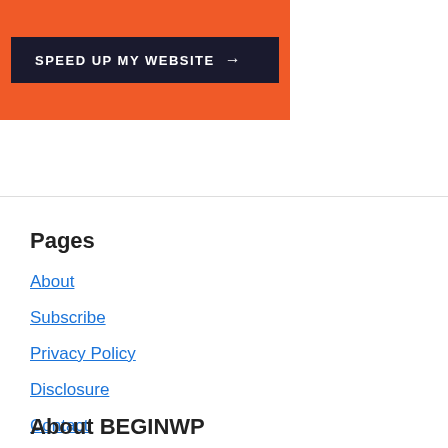[Figure (screenshot): Orange banner with a dark button labeled 'SPEED UP MY WEBSITE →']
Pages
About
Subscribe
Privacy Policy
Disclosure
Contact
About BEGINWP